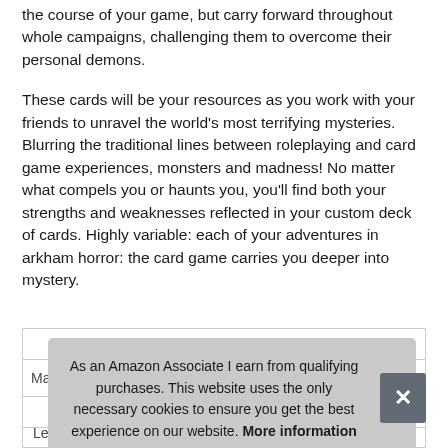the course of your game, but carry forward throughout whole campaigns, challenging them to overcome their personal demons.
These cards will be your resources as you work with your friends to unravel the world's most terrifying mysteries. Blurring the traditional lines between roleplaying and card game experiences, monsters and madness! No matter what compels you or haunts you, you'll find both your strengths and weaknesses reflected in your custom deck of cards. Highly variable: each of your adventures in arkham horror: the card game carries you deeper into mystery.
[Figure (screenshot): Cookie consent banner overlay on a partially visible product specification table. The banner reads: 'As an Amazon Associate I earn from qualifying purchases. This website uses the only necessary cookies to ensure you get the best experience on our website. More information' with an X close button. Below the banner, a table row with label 'Ma' is partially visible, and at the bottom 'Length | 10 Inches'.]